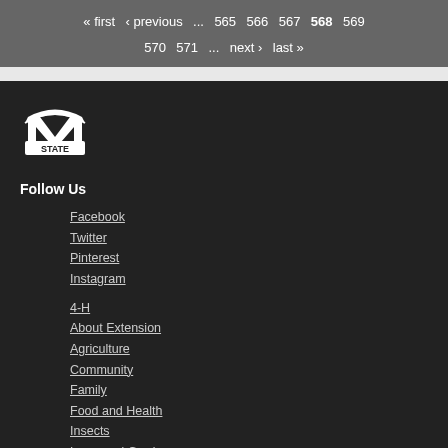« first ‹ previous … 565 566 567 568 569 570 571 … next › last »
[Figure (logo): Mississippi State University M STATE logo in white on dark background]
Follow Us
Facebook
Twitter
Pinterest
Instagram
4-H
About Extension
Agriculture
Community
Family
Food and Health
Insects
Lawn and Garden
Natural Resources